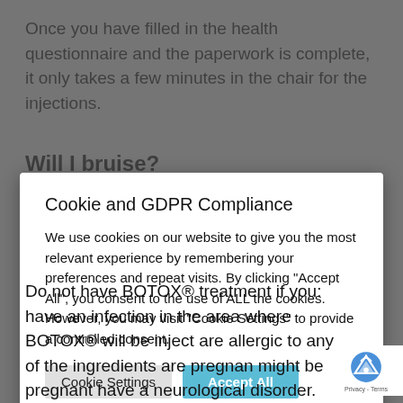Once you have filled in the health questionnaire and the paperwork is complete, it only takes a few minutes in the chair for the injections.
Will I bruise?
Cookie and GDPR Compliance
We use cookies on our website to give you the most relevant experience by remembering your preferences and repeat visits. By clicking "Accept All", you consent to the use of ALL the cookies. However, you may visit "Cookie Settings" to provide a controlled consent.
Cookie Settings | Accept All
Read More
Do not have BOTOX® treatment if you: have an infection in the area where BOTOX® will be injected are allergic to any of the ingredients are pregnant might be pregnant have a neurological disorder.